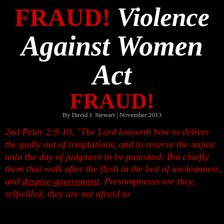FRAUD! Violence Against Women Act FRAUD!
By David J. Stewart | November 2013
2nd Peter 2:9-10, “The Lord knoweth how to deliver the godly out of temptations, and to reserve the unjust unto the day of judgment to be punished: But chiefly them that walk after the flesh in the lust of uncleanness, and despise government. Presumptuous are they, selfwilled, they are not afraid to